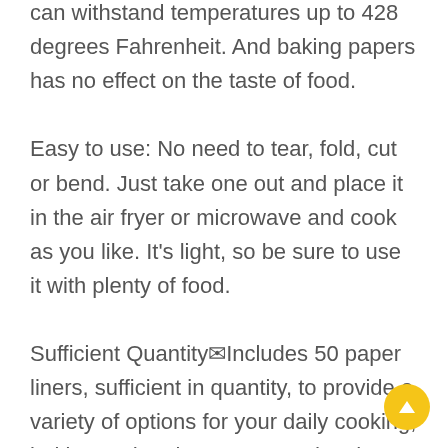healthy and with nice heat resistant, can withstand temperatures up to 428 degrees Fahrenheit. And baking papers has no effect on the taste of food. Easy to use: No need to tear, fold, cut or bend. Just take one out and place it in the air fryer or microwave and cook as you like. It's light, so be sure to use it with plenty of food. Sufficient Quantity✉Includes 50 paper liners, sufficient in quantity, to provide a variety of options for your daily cooking, baking and replacement needs. These disposable paper